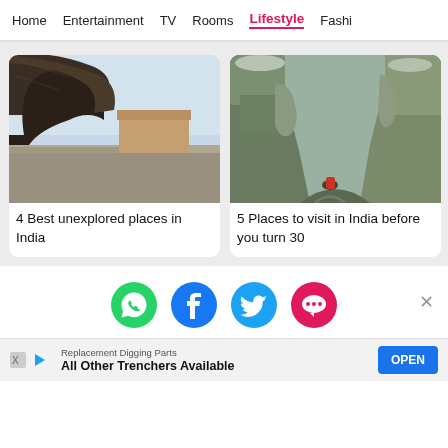Home  Entertainment  TV  Rooms  Lifestyle  Fashi
[Figure (photo): View from inside a cave or fort opening looking out over a vast cityscape with a sandy-colored fortress in the middle distance and a hazy sky above]
4 Best unexplored places in India
[Figure (photo): Mountain hiking trail through a steep rocky canyon with green moss-covered slopes and a hiker with red backpack visible at the bottom]
5 Places to visit in India before you turn 30
[Figure (infographic): Social share icons: WhatsApp (green), Facebook (dark blue), Twitter (cyan), Chat/SMS (pink-red)]
Replacement Digging Parts
All Other Trenchers Available